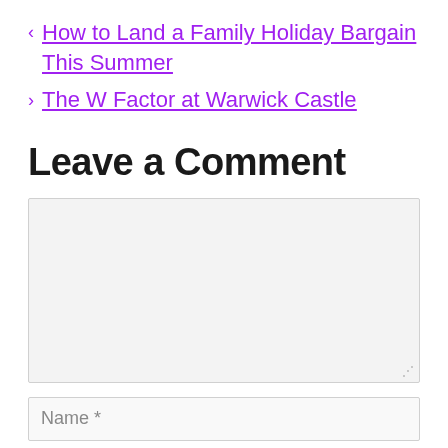< How to Land a Family Holiday Bargain This Summer
> The W Factor at Warwick Castle
Leave a Comment
[Comment text area]
Name *